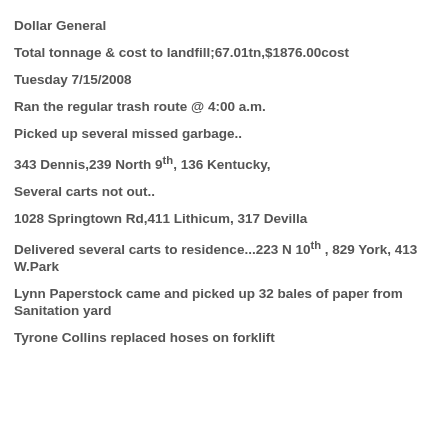Dollar General
Total tonnage & cost to landfill;67.01tn,$1876.00cost
Tuesday 7/15/2008
Ran the regular trash route @ 4:00 a.m.
Picked up several missed garbage..
343 Dennis,239 North 9th, 136 Kentucky,
Several carts not out..
1028 Springtown Rd,411 Lithicum, 317 Devilla
Delivered several carts to residence...223 N 10th , 829 York, 413 W.Park
Lynn Paperstock came and picked up 32 bales of paper from Sanitation yard
Tyrone Collins replaced hoses on forklift